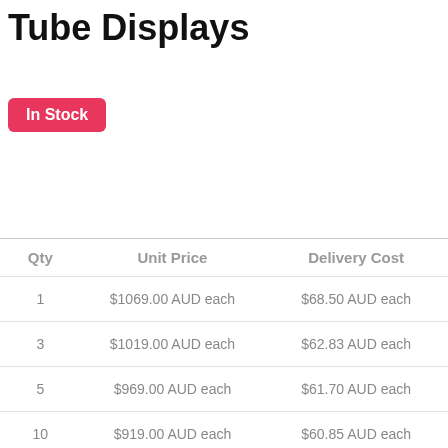Tube Displays
In Stock
| Qty | Unit Price | Delivery Cost |
| --- | --- | --- |
| 1 | $1069.00 AUD each | $68.50 AUD each |
| 3 | $1019.00 AUD each | $62.83 AUD each |
| 5 | $969.00 AUD each | $61.70 AUD each |
| 10 | $919.00 AUD each | $60.85 AUD each |